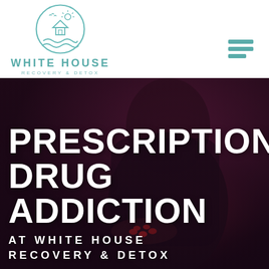[Figure (logo): White House Recovery & Detox circular logo with teal color, showing a house, sun, waves, and birds inside a circle. Below: 'WHITE HOUSE' in large teal letters, 'RECOVERY & DETOX' in smaller spaced letters.]
[Figure (photo): Dark-toned photo of a person in a dark hoodie holding red capsule pills in their cupped hands. The image has moody, dramatic lighting with red/purple tones. Overlaid text reads 'PRESCRIPTION DRUG ADDICTION' in large white bold uppercase letters, and 'AT WHITE HOUSE RECOVERY & DETOX' in spaced white uppercase letters below.]
PRESCRIPTION DRUG ADDICTION
AT WHITE HOUSE RECOVERY & DETOX